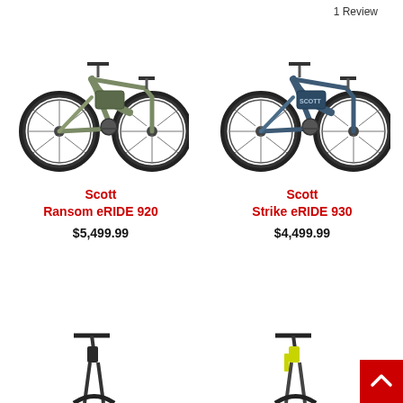1 Review
[Figure (photo): Scott Ransom eRIDE 920 electric mountain bike in green/olive color, full suspension, shown from the side]
Scott
Ransom eRIDE 920
$5,499.99
[Figure (photo): Scott Strike eRIDE 930 electric mountain bike in dark blue/teal color, full suspension, shown from the side]
Scott
Strike eRIDE 930
$4,499.99
[Figure (photo): Partial view of another Scott electric mountain bike (bottom left), dark colored, partially visible]
[Figure (photo): Partial view of another Scott electric mountain bike (bottom right), yellow/neon accents, partially visible]